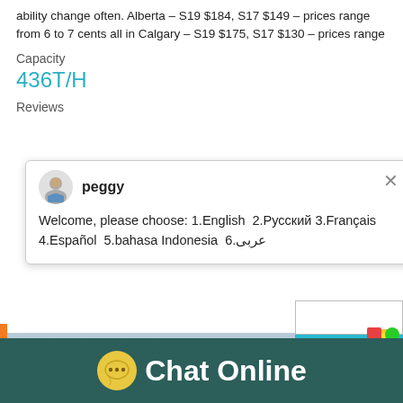ability change often. Alberta – S19 $184, S17 $149 – prices range from 6 to 7 cents all in Calgary – S19 $175, S17 $130 – prices range
Capacity
436T/H
Reviews
[Figure (screenshot): Chat popup with avatar of agent named 'peggy', close button, message: Welcome, please choose: 1.English 2.Русский 3.Français 4.Español 5.bahasa Indonesia 6.عربى]
[Figure (photo): Industrial conveyor belt machinery against a cloudy sky]
Chat Online